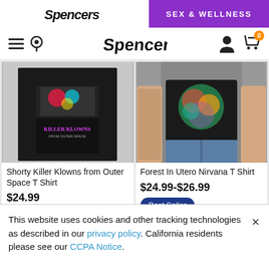Spencer's | SEX & WELLNESS
[Figure (screenshot): Spencer's website navigation bar with hamburger menu, location pin icon, Spencer's graffiti logo, user account icon, and shopping cart with 0 items badge]
[Figure (photo): Shorty Killer Klowns from Outer Space T Shirt product image - black t-shirt on grey background]
[Figure (photo): Forest In Utero Nirvana T Shirt product image - model wearing black t-shirt with colorful graphic]
Shorty Killer Klowns from Outer Space T Shirt
$24.99
Best Seller
Forest In Utero Nirvana T Shirt
$24.99-$26.99
Best Seller
★★★★★
This website uses cookies and other tracking technologies as described in our privacy policy. California residents please see our CCPA Notice.